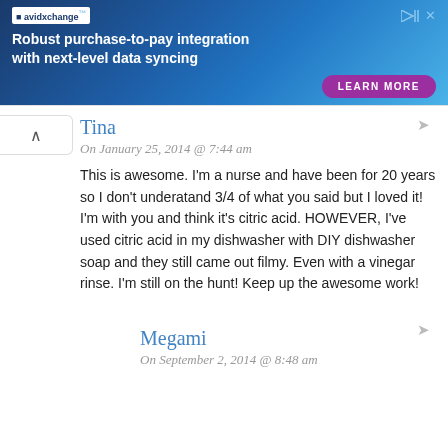[Figure (screenshot): AvidXchange advertisement banner: 'Robust purchase-to-pay integration with next-level data syncing'. Includes logo, play/close buttons, and a 'LEARN MORE' purple CTA button.]
Tina
On January 25, 2014 @ 7:44 am
This is awesome. I'm a nurse and have been for 20 years so I don't underatand 3/4 of what you said but I loved it! I'm with you and think it's citric acid. HOWEVER, I've used citric acid in my dishwasher with DIY dishwasher soap and they still came out filmy. Even with a vinegar rinse. I'm still on the hunt! Keep up the awesome work!
Megami
On September 2, 2014 @ 8:48 am